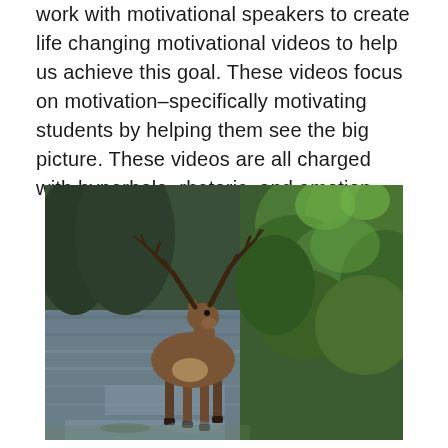work with motivational speakers to create life changing motivational videos to help us achieve this goal. These videos focus on motivation–specifically motivating students by helping them see the big picture. These videos are all charged with hyperbole, rhetoric, and emotion.
[Figure (photo): A caribou or reindeer with large antlers standing at the edge of a river or lake, with dense green forest trees on the right side and water reflecting the surroundings.]